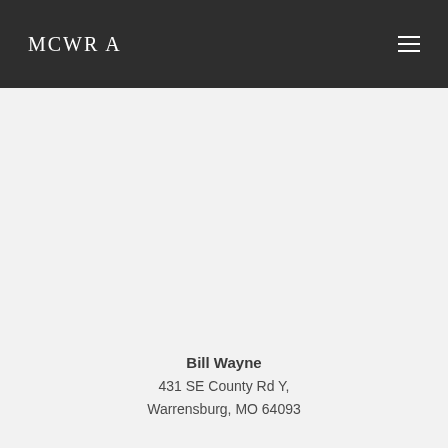MCWRA
Bill Wayne
431 SE County Rd Y,
Warrensburg, MO 64093